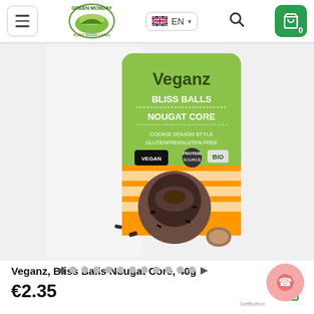Green Monday — EN language selector, search, cart (0)
[Figure (photo): Veganz Bliss Balls Nougat Core 40g product package — green bag with orange and white stripe section, showing a chocolate-covered ball with nougat core, VEGAN and PROTEIN SOURCE badges, Cookie Dough Style, Gluten-free text, and BIO mark.]
Veganz, Bliss Balls Nougat Core, 40g
€2.35
Image carousel navigation dots